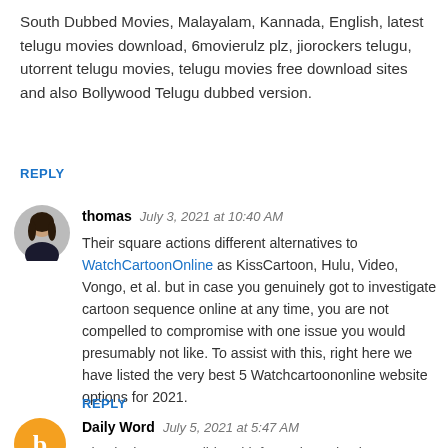South Dubbed Movies, Malayalam, Kannada, English, latest telugu movies download, 6movierulz plz, jiorockers telugu, utorrent telugu movies, telugu movies free download sites and also Bollywood Telugu dubbed version.
REPLY
[Figure (photo): Circular avatar photo of a woman]
thomas  July 3, 2021 at 10:40 AM
Their square actions different alternatives to WatchCartoonOnline as KissCartoon, Hulu, Video, Vongo, et al. but in case you genuinely got to investigate cartoon sequence online at any time, you are not compelled to compromise with one issue you would presumably not like. To assist with this, right here we have listed the very best 5 Watchcartoononline website options for 2021.
REPLY
[Figure (logo): Circular orange avatar with white blogger 'b' icon]
Daily Word  July 5, 2021 at 5:47 AM
Simple, but very valid and informative. Check